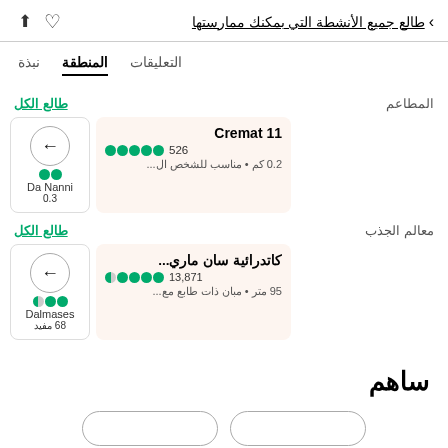طالع جميع الأنشطة التي بمكنك ممارستها
نبذة  المنطقة  التعليقات
المطاعم    طالع الكل
Cremat 11
526 ●●●●●
0.2 كم • مناسب للشخص ال...
Da Nanni
0.3
معالم الجذب    طالع الكل
كاتدرائية سان ماري...
13,871 ●●●●◐
95 متر • مبان ذات طابع مع...
Dalmases
68 مفيد
ساهم
[أزرار في الأسفل]